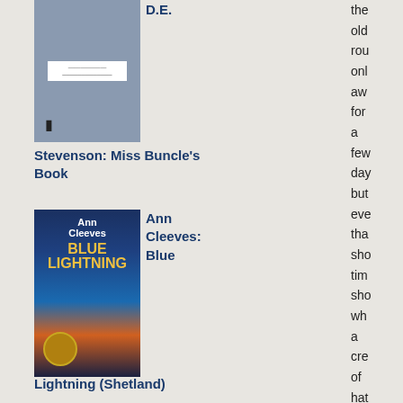[Figure (photo): Book cover for Miss Buncle's Book, grey cover with a small white label in the center and a barcode icon at the bottom]
D.E.
Stevenson: Miss Buncle's Book
[Figure (photo): Book cover for Blue Lightning by Ann Cleeves, dark blue cover with a lighthouse and stormy sea scene]
Ann Cleeves: Blue
Lightning (Shetland)
[Figure (photo): Book cover for Business As Usual by Jane Oliver, colorful urban scene]
Jane Oliver: Business As Usual
the old rou onl aw for a few day but eve tha sho tim sho wh a cre of hat l am anc